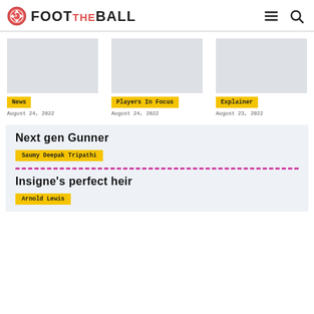FOOT THE BALL
[Figure (logo): FootTheBall logo with soccer ball icon and text]
News | August 24, 2022
Players In Focus | August 24, 2022
Explainer | August 23, 2022
Next gen Gunner
Saumy Deepak Tripathi
Insigne's perfect heir
Arnold Lewis